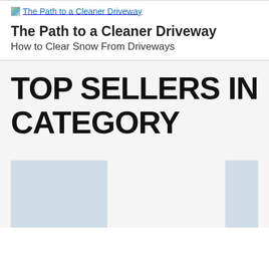[Figure (logo): Small logo image with text link 'The Path to a Cleaner Driveway']
The Path to a Cleaner Driveway
How to Clear Snow From Driveways
TOP SELLERS IN CATEGORY
[Figure (photo): Two partially visible product images with light blue-grey background, likely snow blowers or driveway equipment]